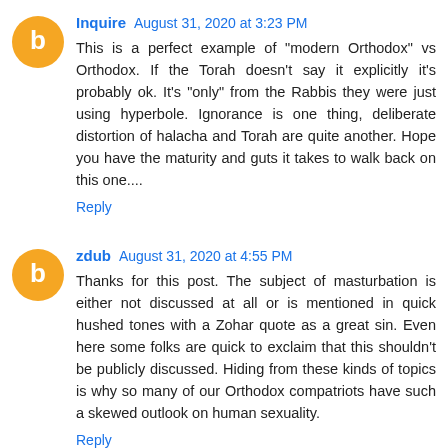Inquire August 31, 2020 at 3:23 PM
This is a perfect example of "modern Orthodox" vs Orthodox. If the Torah doesn't say it explicitly it's probably ok. It's "only" from the Rabbis they were just using hyperbole. Ignorance is one thing, deliberate distortion of halacha and Torah are quite another. Hope you have the maturity and guts it takes to walk back on this one....
Reply
zdub August 31, 2020 at 4:55 PM
Thanks for this post. The subject of masturbation is either not discussed at all or is mentioned in quick hushed tones with a Zohar quote as a great sin. Even here some folks are quick to exclaim that this shouldn't be publicly discussed. Hiding from these kinds of topics is why so many of our Orthodox compatriots have such a skewed outlook on human sexuality.
Reply